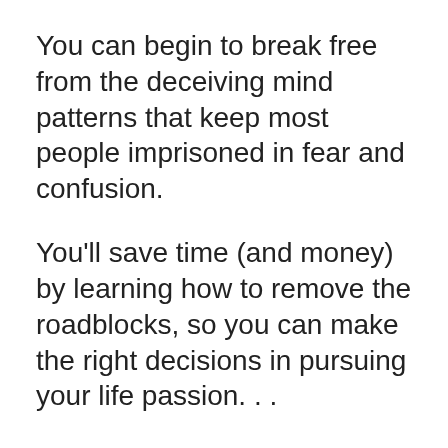You can begin to break free from the deceiving mind patterns that keep most people imprisoned in fear and confusion.
You'll save time (and money) by learning how to remove the roadblocks, so you can make the right decisions in pursuing your life passion. . .
And get motivated to take action so you can get on with doing fulfilling work you love